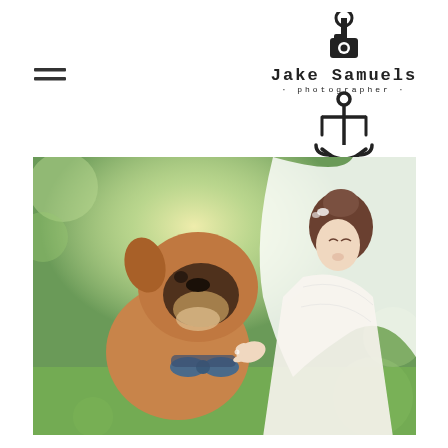[Figure (logo): Jake Samuels photographer logo with anchor icon and text 'Jake Samuels · photographer ·']
[Figure (photo): A bride in a white wedding dress and veil touching noses with a boxer dog wearing a bow tie, outdoors with green trees in background]